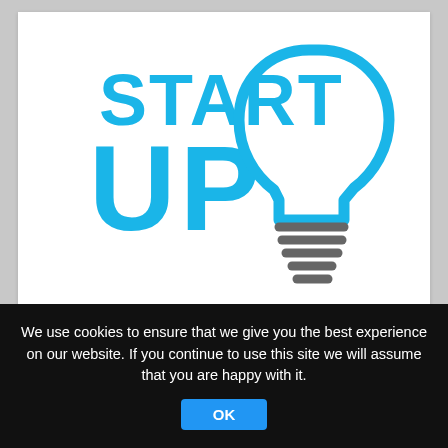[Figure (logo): Startup logo with bold cyan 'START UP' text and a blue lightbulb outline icon with grey filament lines]
Startup Web Development – Our 5 Tips
December 23, 2021
We use cookies to ensure that we give you the best experience on our website. If you continue to use this site we will assume that you are happy with it.